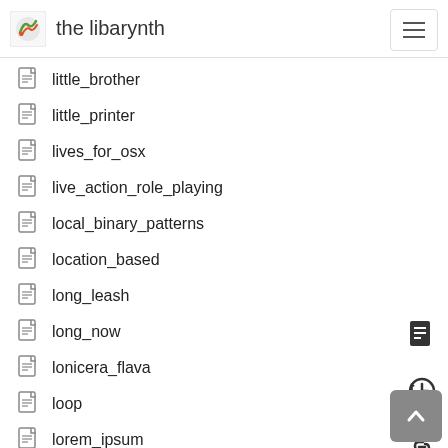the libarynth
little_brother
little_printer
lives_for_osx
live_action_role_playing
local_binary_patterns
location_based
long_leash
long_now
lonicera_flava
loop
lorem_ipsum
louis_decordier
low_power_electronics
ltu
lucid_dreaming
ludgardis_of_tongeren
luea_quotes
luea_transiency_interview